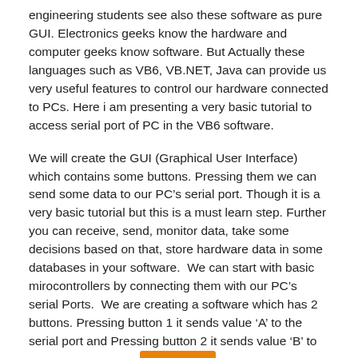engineering students see also these software as pure GUI. Electronics geeks know the hardware and computer geeks know software. But Actually these languages such as VB6, VB.NET, Java can provide us very useful features to control our hardware connected to PCs. Here i am presenting a very basic tutorial to access serial port of PC in the VB6 software.
We will create the GUI (Graphical User Interface) which contains some buttons. Pressing them we can send some data to our PC’s serial port. Though it is a very basic tutorial but this is a must learn step. Further you can receive, send, monitor data, take some decisions based on that, store hardware data in some databases in your software.  We can start with basic mirocontrollers by connecting them with our PC’s serial Ports.  We are creating a software which has 2 buttons. Pressing button 1 it sends value ‘A’ to the serial port and Pressing button 2 it sends value ‘B’ to the serial port. You